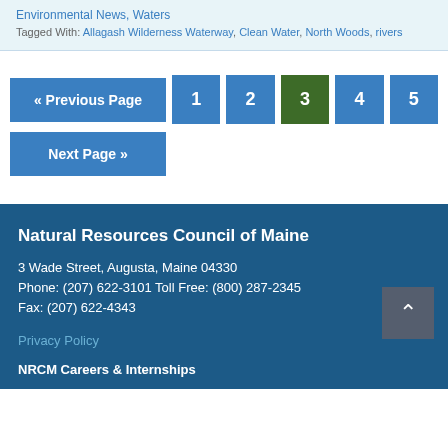Environmental News, Waters
Tagged With: Allagash Wilderness Waterway, Clean Water, North Woods, rivers
« Previous Page
1
2
3
4
5
Next Page »
Natural Resources Council of Maine
3 Wade Street, Augusta, Maine 04330
Phone: (207) 622-3101 Toll Free: (800) 287-2345
Fax: (207) 622-4343
Privacy Policy
NRCM Careers & Internships